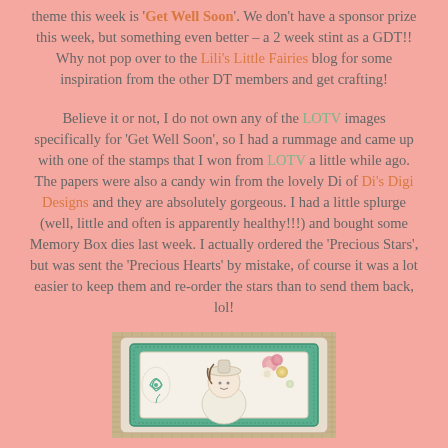theme this week is 'Get Well Soon'. We don't have a sponsor prize this week, but something even better – a 2 week stint as a GDT!! Why not pop over to the Lili's Little Fairies blog for some inspiration from the other DT members and get crafting!
Believe it or not, I do not own any of the LOTV images specifically for 'Get Well Soon', so I had a rummage and came up with one of the stamps that I won from LOTV a little while ago. The papers were also a candy win from the lovely Di of Di's Digi Designs and they are absolutely gorgeous. I had a little splurge (well, little and often is apparently healthy!!!) and bought some Memory Box dies last week. I actually ordered the 'Precious Stars', but was sent the 'Precious Hearts' by mistake, of course it was a lot easier to keep them and re-order the stars than to send them back, lol!
[Figure (photo): A handmade craft card with teal/green decorative border and die-cut elements, featuring a character with a hat, pink flowers, and embellishments on a textured background.]